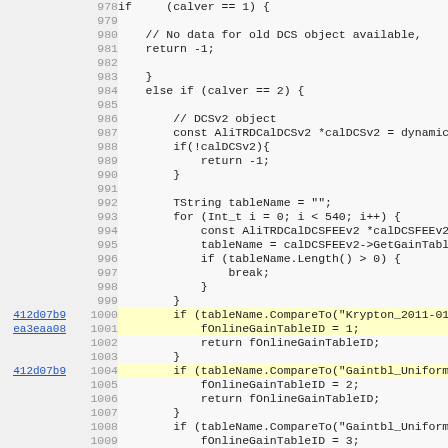[Figure (screenshot): Source code viewer showing C++ code lines 978-1010, with line numbers, commit hashes (412d07b9, ea3eaa08) as hyperlinks on left, and code content on right. Code involves DCS calibration version checking, AliTRDCalDCSv2 objects, table name lookups, and fOnlineGainTableID assignments.]